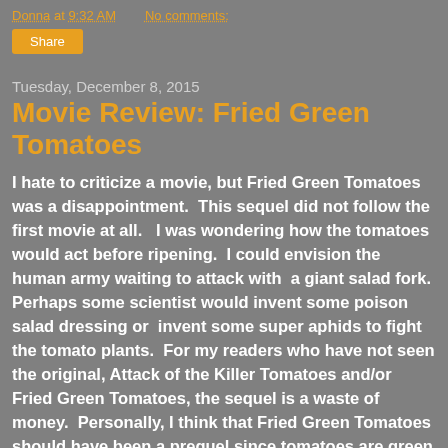Donna at 9:32 AM   No comments:
Share
Tuesday, December 8, 2015
Movie Review: Fried Green Tomatoes
I hate to criticize a movie, but Fried Green Tomatoes was a disappointment.  This sequel did not follow the first movie at all.   I was wondering how the tomatoes would act before ripening.  I could envision the human army waiting to attack with  a giant salad fork.  Perhaps some scientist would invent some poison salad dressing or  invent some super aphids to fight the tomato plants.  For my readers who have not seen the original, Attack of the Killer Tomatoes and/or Fried Green Tomatoes, the sequel is a waste of money.  Personally, I think that Fried Green Tomatoes should have been a prequel since tomatoes are green before they ripen into red or yellow tomatoes.  The movie could have explained what went wrong that caused ordinary tomatoes go on killing...